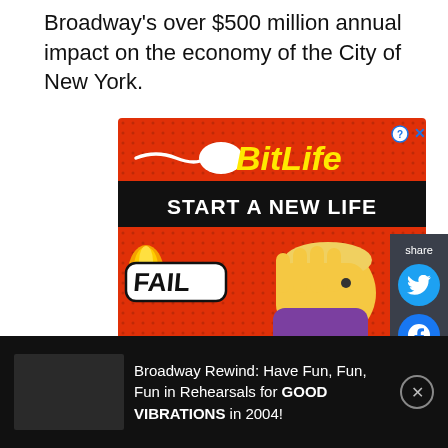Broadway's over $500 million annual impact on the economy of the City of New York.
[Figure (screenshot): BitLife mobile game advertisement with red dotted background showing 'START A NEW LIFE' and 'FAIL' text with facepalm emoji character]
share
Broadway Rewind: Have Fun, Fun, Fun in Rehearsals for GOOD VIBRATIONS in 2004!